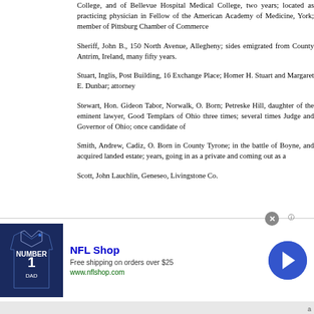College, and of Bellevue Hospital Medical Col... two years; located as practicing physician in... Fellow of the American Academy of Medicine,... York; member of Pittsburg Chamber of Comme...
Sheriff, John B., 150 North Avenue, Allegheny... sides emigrated from County Antrim, Ireland, m... fifty years.
Stuart, Inglis, Post Building, 16 Exchange Pl... Homer H. Stuart and Margaret E. Dunbar; attor...
Stewart, Hon. Gideon Tabor, Norwalk, O. Born... Petreske Hill, daughter of the eminent lawyer,... Good Templars of Ohio three times; several... Judge and Governor of Ohio; once candidate o...
Smith, Andrew, Cadiz, O. Born in County Tyro... in the battle of Boyne, and acquired landed e... years, going in as a private and coming out as...
Scott, John Lauchlin, Geneseo, Livingstone C...
[Figure (screenshot): NFL Shop advertisement banner with jersey image, NFL Shop logo, 'Free shipping on orders over $25', www.nflshop.com, arrow button, and close button]